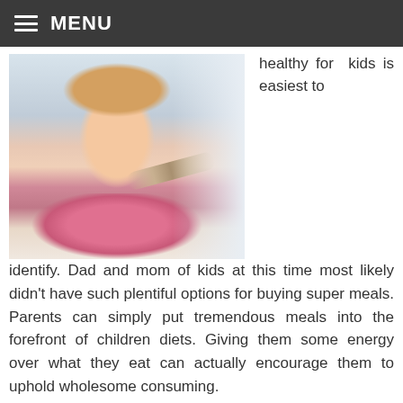MENU
[Figure (photo): A young girl in a pink scarf eating medicine or food from a spoon held by an adult hand]
healthy for kids is easiest to identify. Dad and mom of kids at this time most likely didn't have such plentiful options for buying super meals. Parents can simply put tremendous meals into the forefront of children diets. Giving them some energy over what they eat can actually encourage them to uphold wholesome consuming.
I'm captivated with early identification and connection to providers and supports for children and households as a result of we know appearing